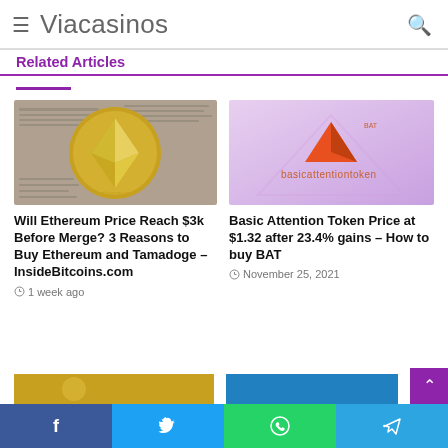Viacasinos
Related Articles
[Figure (photo): Ethereum coin on newspaper background]
Will Ethereum Price Reach $3k Before Merge? 3 Reasons to Buy Ethereum and Tamadoge – InsideBitcoins.com
1 week ago
[Figure (photo): Basic Attention Token logo on purple gradient background]
Basic Attention Token Price at $1.32 after 23.4% gains – How to buy BAT
November 25, 2021